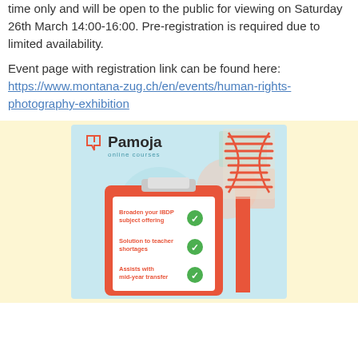time only and will be open to the public for viewing on Saturday 26th March 14:00-16:00. Pre-registration is required due to limited availability.
Event page with registration link can be found here: https://www.montana-zug.ch/en/events/human-rights-photography-exhibition
[Figure (illustration): Pamoja online courses promotional image showing clipboard with checklist items: 'Broaden your IBDP subject offering', 'Solution to teacher shortages', 'Assists with mid-year transfer' each with green checkmarks, DNA helix graphic top right, on light blue background.]